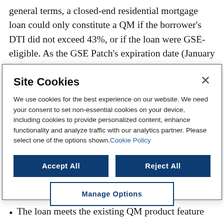general terms, a closed-end residential mortgage loan could only constitute a QM if the borrower's DTI did not exceed 43%, or if the loan were GSE-eligible. As the GSE Patch's expiration date (January 10, 2021) loomed, the CFPB promised to rethink the 43% DTI requirement
Site Cookies
We use cookies for the best experience on our website. We need your consent to set non-essential cookies on your device, including cookies to provide personalized content, enhance functionality and analyze traffic with our analytics partner. Please select one of the options shown. Cookie Policy
Accept All | Reject All | Manage Options
The loan meets the existing QM product feature